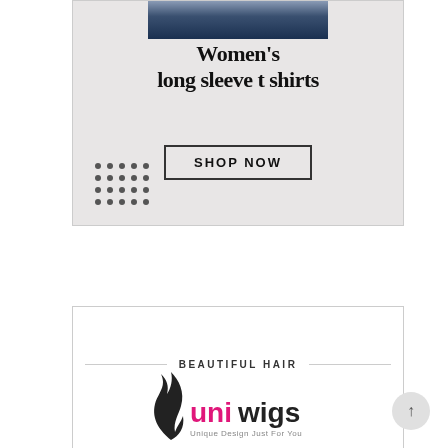[Figure (infographic): Women's long sleeve t shirts advertisement. Light gray background with a partial photo of a person wearing dark jeans at the top. Large serif text reads 'Women's long sleeve t shirts'. Below is a 'SHOP NOW' button with a rectangular border. Bottom left has a decorative dot grid pattern.]
[Figure (logo): Uniwigs brand logo with text 'BEAUTIFUL HAIR' as a section header with horizontal lines on each side. Below is the Uniwigs logo featuring a stylized flame/hair icon in black, 'uni' text in pink/magenta, 'wigs' text in dark gray/black, and small tagline 'Unique Design Just For You'.]